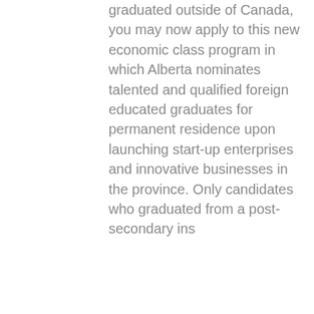graduated outside of Canada, you may now apply to this new economic class program in which Alberta nominates talented and qualified foreign educated graduates for permanent residence upon launching start-up enterprises and innovative businesses in the province. Only candidates who graduated from a post-secondary ins
[Figure (other): Stats bar showing 242 views (eye icon), 0 comments (speech bubble icon), and 4 likes (heart icon)]
[Figure (photo): Photo of a doctor or medical professional in a white coat with a stethoscope, in a clinical/lab setting with blurred background showing medical equipment and a blue element]
[Figure (other): Bottom action bar with Phone button (green phone icon) and Email button (pink/magenta envelope icon)]